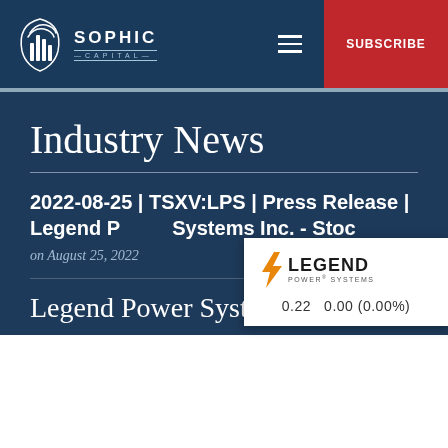[Figure (logo): Sophic Capital logo with stylized building/chart icon and company name]
SUBSCRIBE
Industry News
2022-08-25 | TSXV:LPS | Press Release | Legend Power Systems Inc. - Stock
on August 25, 2022
[Figure (logo): Legend Power Systems logo with orange lightning bolt and company name. Ticker price: 0.22  0.00 (0.00%)]
Legend Power System